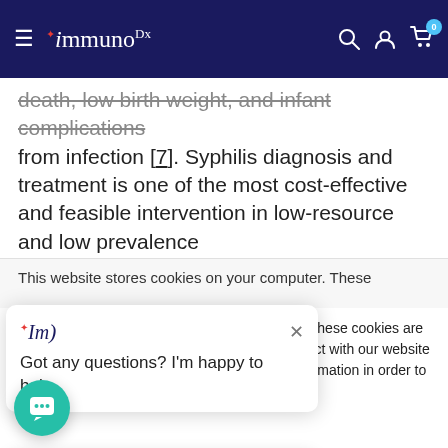ImmunoDx navigation bar with hamburger menu, logo, search, account, and cart icons
death, low birth weight, and infant complications from infection [7]. Syphilis diagnosis and treatment is one of the most cost-effective and feasible intervention in low-resource and low prevalence settings [8] but studies show that antenatal screening
This website stores cookies on your computer. These
This website stores cookies on your computer. These cookies are used to collect information about how you interact with our website and allow us to remember you. We use this information in order to improve and customize your browsing experience and for analytics and metrics about our visitors both on this website and other media. To find out more about the cookies we use, see our Cookie Policy. If you decline, your information won't be tracked when you visit this website. A single cookie will be used in your browser to remember your preference not to be tracked.
Got any questions? I'm happy to help.
Accept
Decline